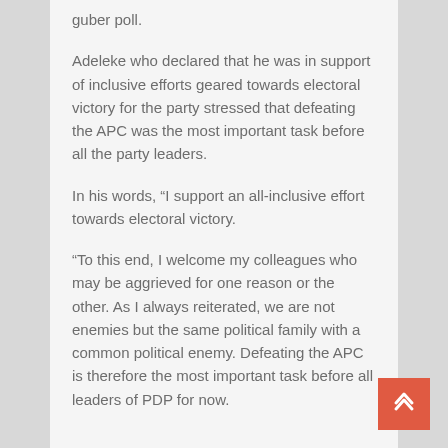guber poll.
Adeleke who declared that he was in support of inclusive efforts geared towards electoral victory for the party stressed that defeating the APC was the most important task before all the party leaders.
In his words, “I support an all-inclusive effort towards electoral victory.
“To this end, I welcome my colleagues who may be aggrieved for one reason or the other. As I always reiterated, we are not enemies but the same political family with a common political enemy. Defeating the APC is therefore the most important task before all leaders of PDP for now.